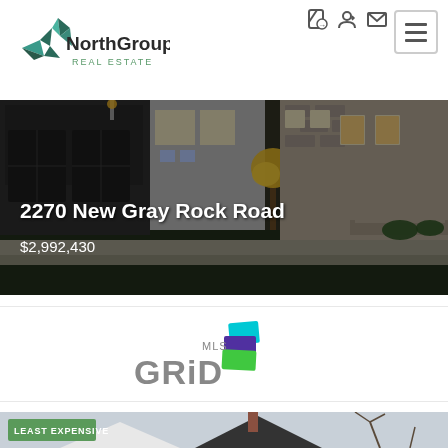[Figure (logo): NorthGroup Real Estate logo with teal/green star icon and text]
[Figure (photo): Exterior photo of a luxury home/barn style property at 2270 New Gray Rock Road]
2270 New Gray Rock Road
$2,992,430
[Figure (logo): MLS GRID logo with colored stacked squares icon]
[Figure (photo): Exterior photo of a house with LEAST EXPENSIVE badge overlay]